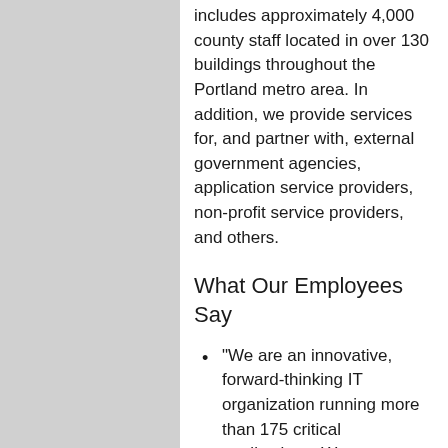includes approximately 4,000 county staff located in over 130 buildings throughout the Portland metro area. In addition, we provide services for, and partner with, external government agencies, application service providers, non-profit service providers, and others.
What Our Employees Say
“We are an innovative, forward-thinking IT organization running more than 175 critical applications. We are a Google shop, with a cloud-first strategy.”
“We search for the path to ‘yes’ while being fiscally responsible to the citizens of Multnomah